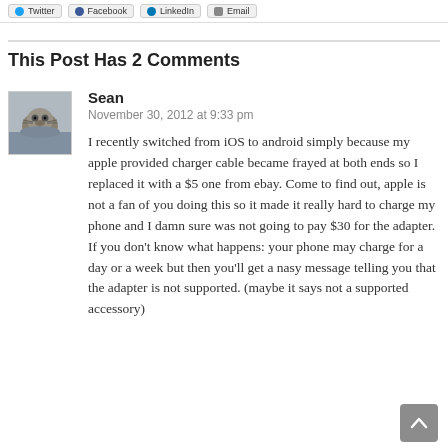Twitter  Facebook  LinkedIn  Email
This Post Has 2 Comments
[Figure (photo): User avatar photo of a small animal or creature, possibly a hedgehog or similar, in water or textured background]
Sean
November 30, 2012 at 9:33 pm
I recently switched from iOS to android simply because my apple provided charger cable became frayed at both ends so I replaced it with a $5 one from ebay. Come to find out, apple is not a fan of you doing this so it made it really hard to charge my phone and I damn sure was not going to pay $30 for the adapter. If you don't know what happens: your phone may charge for a day or a week but then you'll get a nasy message telling you that the adapter is not supported. (maybe it says not a supported accessory)